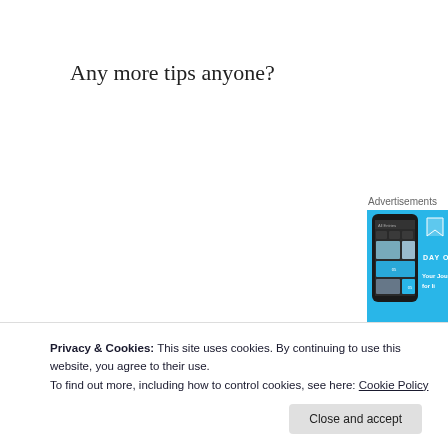Any more tips anyone?
Advertisements
[Figure (screenshot): Mobile app advertisement for Day One journal app showing a phone mockup with photo diary entries on a blue background with text 'Your Journal for life']
Privacy & Cookies: This site uses cookies. By continuing to use this website, you agree to their use.
To find out more, including how to control cookies, see here: Cookie Policy
Close and accept